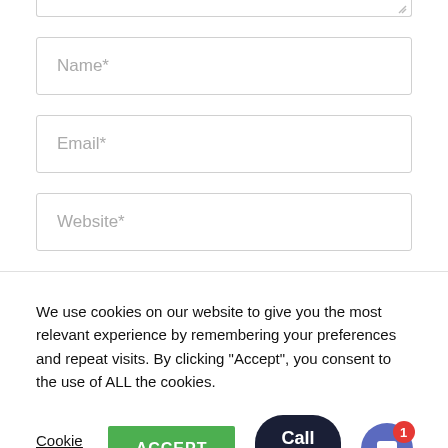[Figure (screenshot): Top edge of a textarea form field with resize handle icon in bottom-right corner]
Name*
Email*
Website*
We use cookies on our website to give you the most relevant experience by remembering your preferences and repeat visits. By clicking "Accept", you consent to the use of ALL the cookies.
Cookie settings
ACCEPT
Call Us